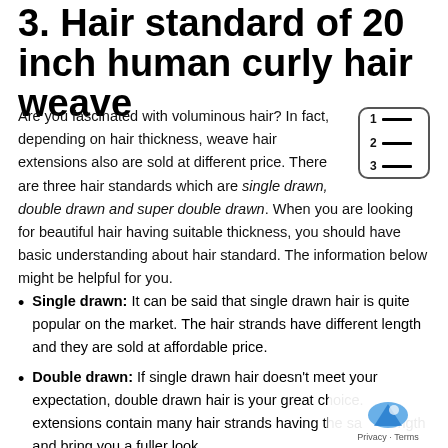3. Hair standard of 20 inch human curly hair weave
Are you fascinated with voluminous hair? In fact, depending on hair thickness, weave hair extensions also are sold at different price. There are three hair standards which are single drawn, double drawn and super double drawn. When you are looking for beautiful hair having suitable thickness, you should have basic understanding about hair standard. The information below might be helpful for you.
Single drawn: It can be said that single drawn hair is quite popular on the market. The hair strands have different length and they are sold at affordable price.
Double drawn: If single drawn hair doesn't meet your expectation, double drawn hair is your great choice. extensions contain many hair strands having the same length and bring you a fuller look.